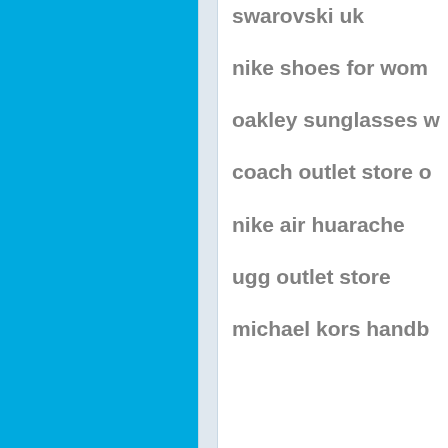swarovski uk
nike shoes for women
oakley sunglasses w
coach outlet store o
nike air huarache
ugg outlet store
michael kors handb